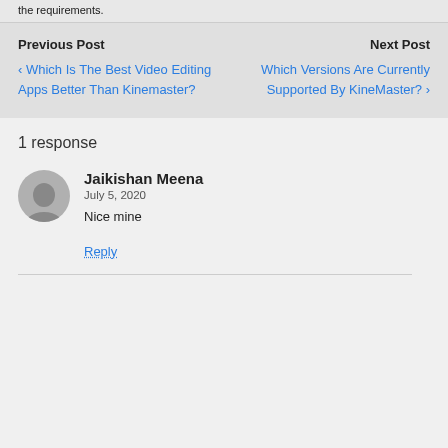the requirements.
Previous Post
‹ Which Is The Best Video Editing Apps Better Than Kinemaster?
Next Post
Which Versions Are Currently Supported By KineMaster? ›
1 response
Jaikishan Meena
July 5, 2020
Nice mine
Reply